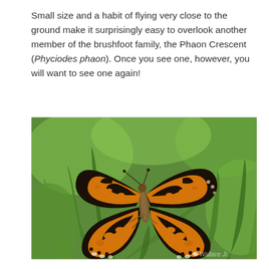Small size and a habit of flying very close to the ground make it surprisingly easy to overlook another member of the brushfoot family, the Phaon Crescent (Phyciodes phaon). Once you see one, however, you will want to see one again!
[Figure (photo): A Phaon Crescent butterfly (Phyciodes phaon) photographed from above with wings spread open, resting on green grass blades. The butterfly displays its characteristic orange and black patterned wings. Photo credit: © Wallace Jr.]